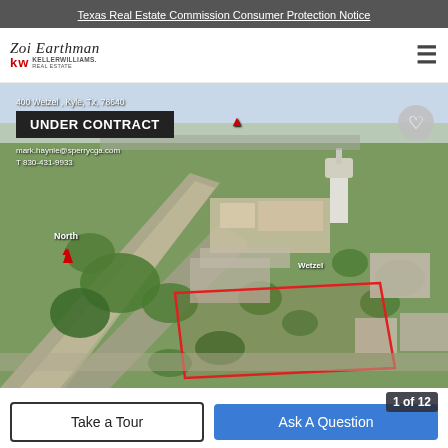Texas Real Estate Commission Consumer Protection Notice
[Figure (logo): Zoi Earthman Keller Williams Real Estate logo]
[Figure (photo): Aerial drone photo of 400 Wetzel, Kyle, TX 78640 showing a vacant land parcel outlined in red, with surrounding streets, buildings, a water tower, and residential neighborhood. 'UNDER CONTRACT' badge overlaid. North arrow, Wetzel label, and heart/favorite button visible.]
400 Wetzel , Kyle, Tx, 78640
UNDER CONTRACT
mark.haynie@sperrycga.com
T 830-431-9933
North
Wetzel
Take a Tour
Ask A Question
1 of 12